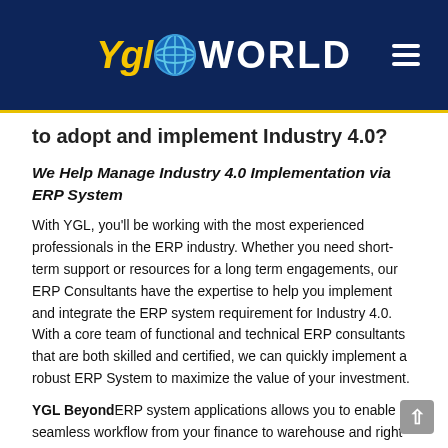YGL WORLD
to adopt and implement Industry 4.0?
We Help Manage Industry 4.0 Implementation via ERP System
With YGL, you'll be working with the most experienced professionals in the ERP industry. Whether you need short-term support or resources for a long term engagements, our ERP Consultants have the expertise to help you implement and integrate the ERP system requirement for Industry 4.0. With a core team of functional and technical ERP consultants that are both skilled and certified, we can quickly implement a robust ERP System to maximize the value of your investment.
YGL BeyondERP system applications allows you to enable a seamless workflow from your finance to warehouse and right